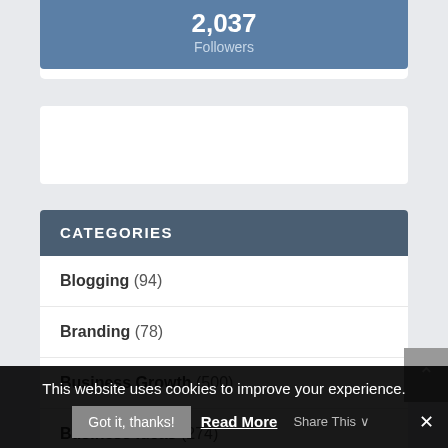2,037 Followers
CATEGORIES
Blogging (94)
Branding (78)
Business Growth (500)
Business Ideas (274)
This website uses cookies to improve your experience.
Got it, thanks!  Read More  Share This  ✕